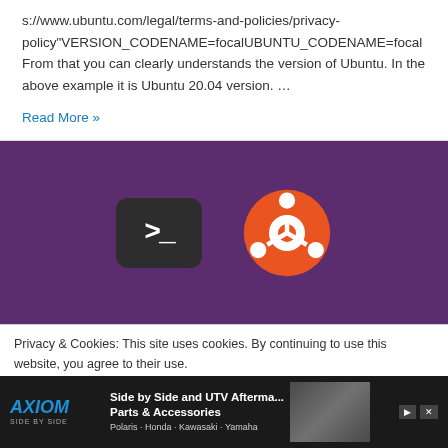s://www.ubuntu.com/legal/terms-and-policies/privacy-policy"VERSION_CODENAME=focalUBUNTU_CODENAME=focal From that you can clearly understands the version of Ubuntu. In the above example it is Ubuntu 20.04 version. …
Read More »
[Figure (illustration): Ubuntu promotional banner with dark purple background showing a terminal icon (dark rounded rectangle with > _ prompt) and the Ubuntu circular logo in orange and white]
Privacy & Cookies: This site uses cookies. By continuing to use this website, you agree to their use.
To find out more, including how to control cookies, see here: Privacy Policy
[Figure (other): Axiom Side by Side advertisement banner: dark background with Axiom logo in blue italic, text reading 'Side by Side and UTV Aftermarket Parts & Accessories', brands listed as Polaris · Honda · Kawasaki · Yamaha, with play and close buttons]